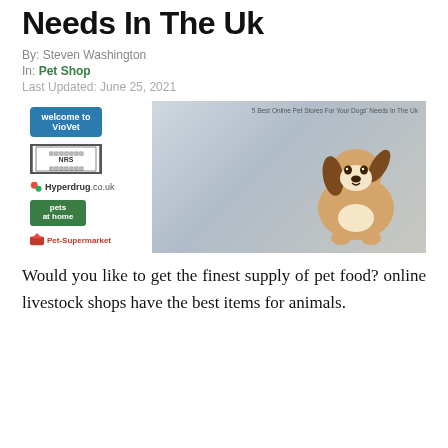Needs In The Uk
By: Steven Washington
In: Pet Shop
Last Updated: June 25, 2021
[Figure (photo): Composite image showing logos of VioVet, NRS, Hyperdrug.co.uk, Pets at Home, and Pet Supermarket on the left, with a beagle puppy sitting on the right side. Caption reads: 5 Best Online Pet Stores For Your Dogs' Needs In The Uk]
Would you like to get the finest supply of pet food? online livestock shops have the best items for animals.